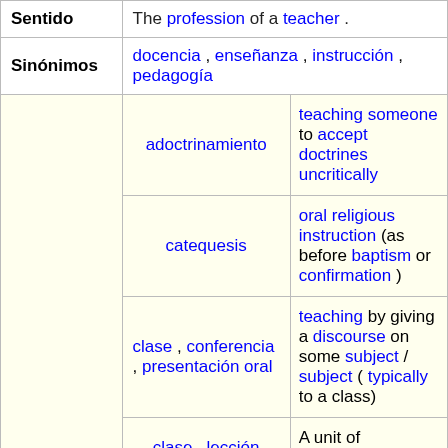| Sentido/Category | Spanish | English |
| --- | --- | --- |
| Sentido |  | The profession of a teacher. |
| Sinónimos | docencia, enseñanza, instrucción, pedagogía |  |
|  | adoctrinamiento | teaching someone to accept doctrines uncritically |
|  | catequesis | oral religious instruction (as before baptism or confirmation) |
|  | clase, conferencia, presentación oral | teaching by giving a discourse on some subject / subject (typically to a class) |
|  | clase, lección | A unit of instruction |
| Ejemplos |  | teaching religious... |